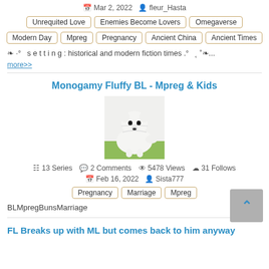Mar 2, 2022   fleur_Hasta
Unrequited Love
Enemies Become Lovers
Omegaverse
Modern Day
Mpreg
Pregnancy
Ancient China
Ancient Times
setting: historical and modern fiction times .º ... more>>
Monogamy Fluffy BL - Mpreg & Kids
[Figure (photo): White fluffy dog (Samoyed puppy) sitting on grass]
13 Series  2 Comments  5478 Views  31 Follows
Feb 16, 2022   Sista777
Pregnancy
Marriage
Mpreg
BLMpregBunsMarriage
FL Breaks up with ML but comes back to him anyway